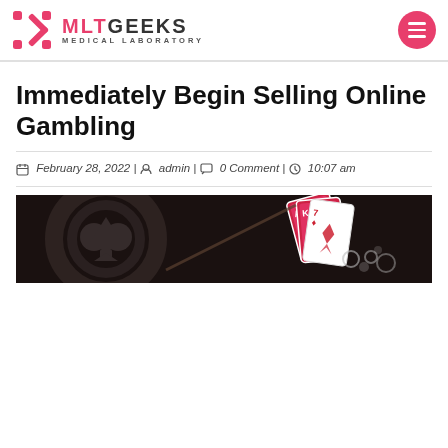MLT GEEKS MEDICAL LABORATORY
Immediately Begin Selling Online Gambling
February 28, 2022 | admin | 0 Comment | 10:07 am
[Figure (photo): Dark background gambling image showing playing cards and a spade symbol]